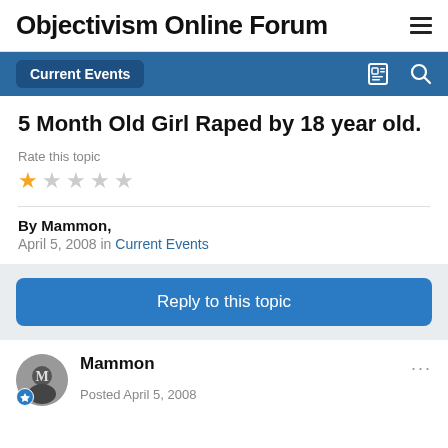Objectivism Online Forum
Current Events
5 Month Old Girl Raped by 18 year old.
Rate this topic
By Mammon, April 5, 2008 in Current Events
Reply to this topic
Mammon
Posted April 5, 2008